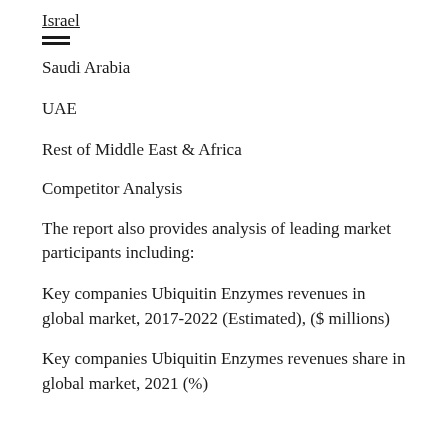Israel
Saudi Arabia
UAE
Rest of Middle East & Africa
Competitor Analysis
The report also provides analysis of leading market participants including:
Key companies Ubiquitin Enzymes revenues in global market, 2017-2022 (Estimated), ($ millions)
Key companies Ubiquitin Enzymes revenues share in global market, 2021 (%)